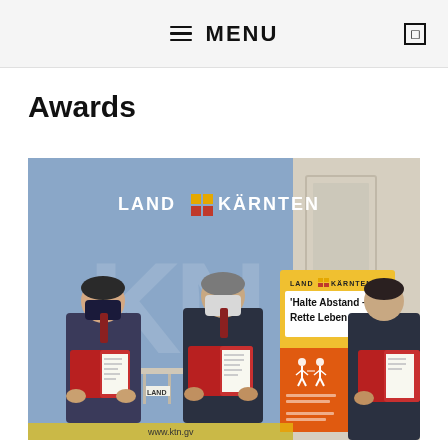≡ MENU
Awards
[Figure (photo): Three men wearing dark face masks and suits standing apart, each holding open red folders with documents inside. Behind them is a blue backdrop reading 'LAND KÄRNTEN' with the regional logo, and to the right a yellow and orange banner reading 'Halte Abstand – Rette Leben' (Keep distance – Save lives) also branded with Land Kärnten. The setting appears to be an official government award ceremony.]